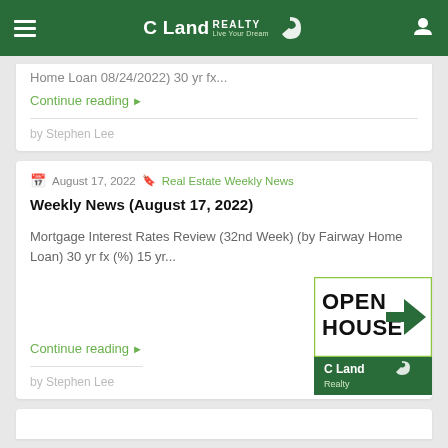C Land REALTY
Home Loan 08/24/2022) 30 yr fx...
Continue reading ▶
by Stephen Lee
August 17, 2022   Real Estate Weekly News
Weekly News (August 17, 2022)
Mortgage Interest Rates Review (32nd Week) (by Fairway Home Loan) 30 yr fx (%) 15 yr...
Continue reading ▶
by Stephen Lee
[Figure (logo): Open House sign with C Land Realty branding. White box with bold black text OPEN HOUSE and green arrow, green bottom section with C Land Realty logo.]